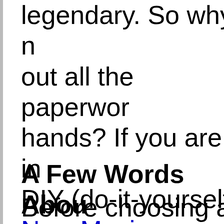legendary. So why not out all the paperwork hands? If you are in DIY (do-it-yourself) New Mexico, read th end.
A Few Words Abou
Before choosing a D